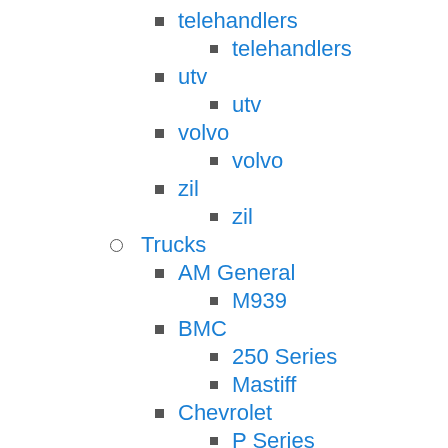telehandlers
telehandlers
utv
utv
volvo
volvo
zil
zil
Trucks
AM General
M939
BMC
250 Series
Mastiff
Chevrolet
P Series
P12
P42
W Series